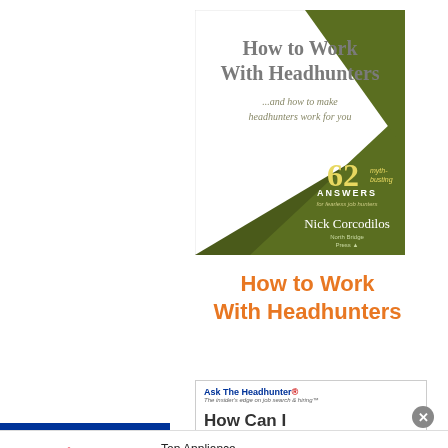[Figure (illustration): Book cover for 'How to Work With Headhunters ...and how to make headhunters work for you' by Nick Corcodilos. White and dark olive green diagonal design. Text: 62 myth-busting ANSWERS for fearless job hunters. North Bridge Press logo at bottom.]
How to Work With Headhunters
[Figure (screenshot): Ask The Headhunter website screenshot showing logo and partial text 'How Can I']
infolinks
Top Appliance Low Price:
[Figure (logo): Wayfair logo with colorful diamond icon]